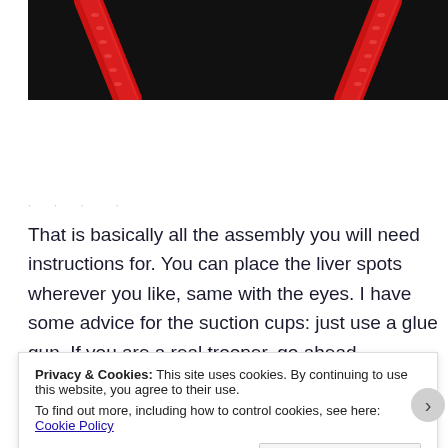[Figure (photo): Close-up photo of red knitted/crocheted cord or strap on a black background, showing two red braided straps forming a V or A shape.]
· · ·  ·
That is basically all the assembly you will need instructions for. You can place the liver spots wherever you like, same with the eyes. I have some advice for the suction cups: just use a glue gun. If you are a real trooper, go ahead
Privacy & Cookies: This site uses cookies. By continuing to use this website, you agree to their use.
To find out more, including how to control cookies, see here: Cookie Policy
Close and accept